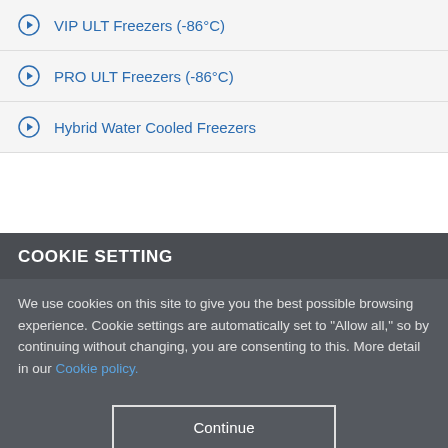VIP ULT Freezers (-86°C)
PRO ULT Freezers (-86°C)
Hybrid Water Cooled Freezers
COOKIE SETTING
We use cookies on this site to give you the best possible browsing experience. Cookie settings are automatically set to "Allow all," so by continuing without changing, you are consenting to this. More detail in our Cookie policy.
Continue